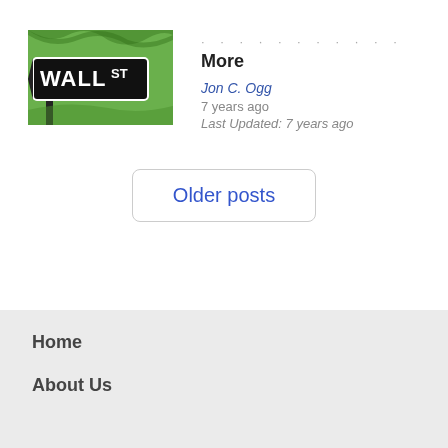[Figure (illustration): Wall Street sign illustration with green background and bold text reading WALL ST]
More
Jon C. Ogg
7 years ago
Last Updated: 7 years ago
Older posts
Home
About Us